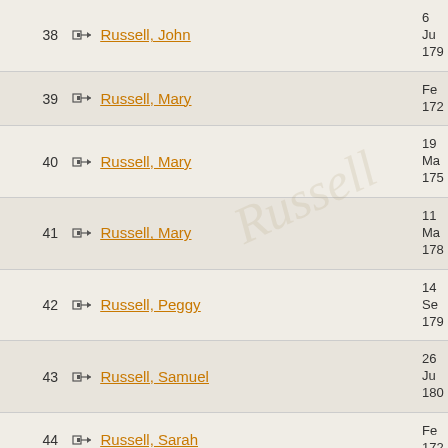| # | Name | Date |
| --- | --- | --- |
| 38 | Russell, John | 6 Ju 179... |
| 39 | Russell, Mary | Fe 172... |
| 40 | Russell, Mary | 19 Ma 175... |
| 41 | Russell, Mary | 11 Ma 178... |
| 42 | Russell, Peggy | 14 Se 179... |
| 43 | Russell, Samuel | 26 Ju 180... |
| 44 | Russell, Sarah | Fe 172... |
| 45 | Russell, Sarah | 16 Ju 172... |
| 46 | Russell, Sarah | 29 Ma 175... |